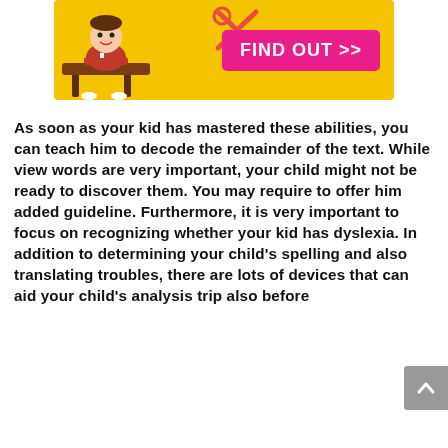[Figure (illustration): A yellow banner advertisement showing a cartoon child sitting at a desk with scissors nearby, and a pink 'FIND OUT >>' button on the right side.]
As soon as your kid has mastered these abilities, you can teach him to decode the remainder of the text. While view words are very important, your child might not be ready to discover them. You may require to offer him added guideline. Furthermore, it is very important to focus on recognizing whether your kid has dyslexia. In addition to determining your child's spelling and also translating troubles, there are lots of devices that can aid your child's analysis trip also before